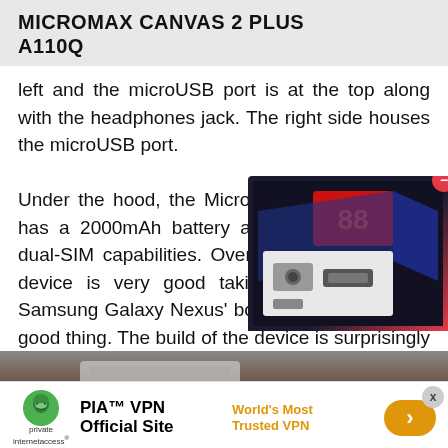MICROMAX CANVAS 2 PLUS
A110Q
left and the microUSB port is at the top along with the headphones jack. The right side houses the microUSB port.
Under the hood, the Micromax Canvas 2 A110 has a 2000mAh battery and it also boasts of dual-SIM capabilities. Overall the design of the device is very good taking a leaf from the Samsung Galaxy Nexus' book and that is a very good thing. The build of the device is surprisingly good considering the price point.
[Figure (photo): Photo of a device on a surface, partially visible]
[Figure (photo): PIA VPN advertisement banner with logo, text 'PIA VPN Official Site', tagline 'World's Most Trusted VPN', and orange arrow button]